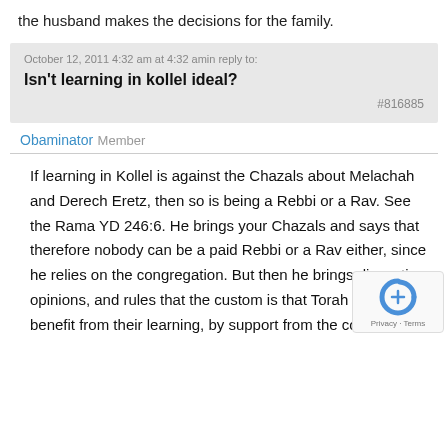the husband makes the decisions for the family.
Isn't learning in kollel ideal?
October 12, 2011 4:32 am at 4:32 amin reply to:
#816885
Obaminator   Member
If learning in Kollel is against the Chazals about Melachah and Derech Eretz, then so is being a Rebbi or a Rav. See the Rama YD 246:6. He brings your Chazals and says that therefore nobody can be a paid Rebbi or a Rav either, since he relies on the congregation. But then he brings dissenting opinions, and rules that the custom is that Torah scholars do benefit from their learning, by support from the community.